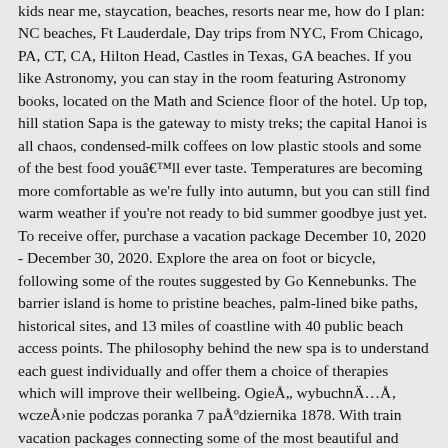kids near me, staycation, beaches, resorts near me, how do I plan: NC beaches, Ft Lauderdale, Day trips from NYC, From Chicago, PA, CT, CA, Hilton Head, Castles in Texas, GA beaches. If you like Astronomy, you can stay in the room featuring Astronomy books, located on the Math and Science floor of the hotel. Up top, hill station Sapa is the gateway to misty treks; the capital Hanoi is all chaos, condensed-milk coffees on low plastic stools and some of the best food youâ€™ll ever taste. Temperatures are becoming more comfortable as we're fully into autumn, but you can still find warm weather if you're not ready to bid summer goodbye just yet. To receive offer, purchase a vacation package December 10, 2020 - December 30, 2020. Explore the area on foot or bicycle, following some of the routes suggested by Go Kennebunks. The barrier island is home to pristine beaches, palm-lined bike paths, historical sites, and 13 miles of coastline with 40 public beach access points. The philosophy behind the new spa is to understand each guest individually and offer them a choice of therapies which will improve their wellbeing. OgieÅ„ wybuchnÄ…Å‚ wczeÅ›nie podczas poranka 7 paÅºdziernika 1878. With train vacation packages connecting some of the most beautiful and popular destinations across the United States and Canada, Amtrak Vacations offers an eco-friendly, flexible, and fun way to discover America. Stay at the elegant and historic Otesaga Resort Hotel on the shores of